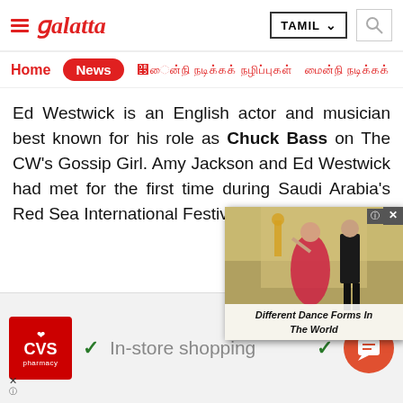Galatta — TAMIL
Home  News
Ed Westwick is an English actor and musician best known for his role as Chuck Bass on The CW's Gossip Girl. Amy Jackson and Ed Westwick had met for the first time during Saudi Arabia's Red Sea International Festival in
[Figure (screenshot): Video popup showing dancers with caption 'Different Dance Forms In The World']
x
[Figure (screenshot): CVS Pharmacy advertisement banner with 'In-store shopping' text and chat button]